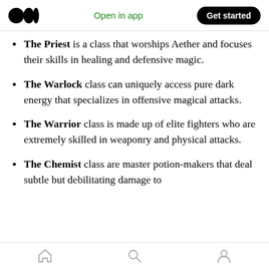Medium logo | Open in app | Get started
The Priest is a class that worships Aether and focuses their skills in healing and defensive magic.
The Warlock class can uniquely access pure dark energy that specializes in offensive magical attacks.
The Warrior class is made up of elite fighters who are extremely skilled in weaponry and physical attacks.
The Chemist class are master potion-makers that deal subtle but debilitating damage to
Home | Search | Profile